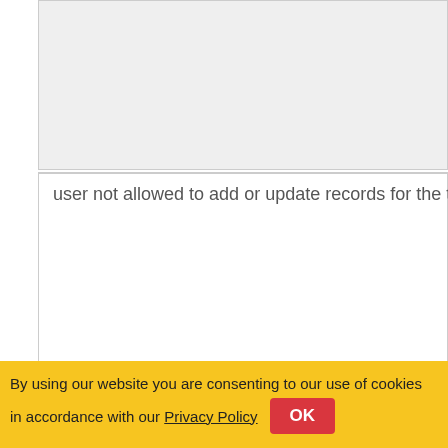[Figure (screenshot): Gray empty content box / input area at the top of the page]
user not allowed to add or update records for the title "{title
By using our website you are consenting to our use of cookies in accordance with our Privacy Policy  OK